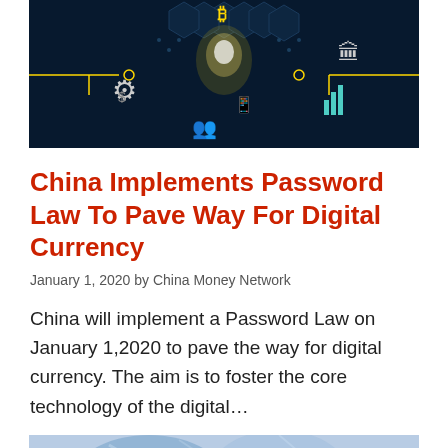[Figure (photo): Dark technology background image showing a glowing lightbulb surrounded by digital icons including gears, currency symbols, hexagonal patterns, and circuit board elements in yellow and teal on a dark blue background.]
China Implements Password Law To Pave Way For Digital Currency
January 1, 2020 by China Money Network
China will implement a Password Law on January 1,2020 to pave the way for digital currency. The aim is to foster the core technology of the digital...
[Figure (photo): Blue-tinted photo showing abstract or nature imagery, partially visible at bottom of page.]